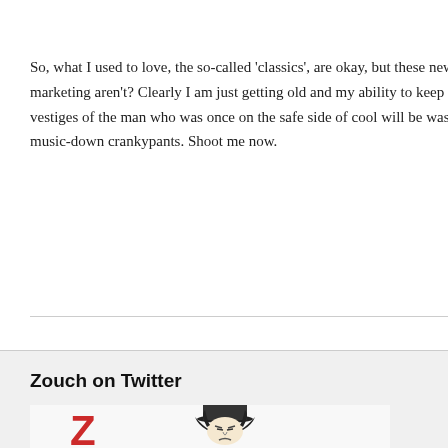So, what I used to love, the so-called 'classics', are okay, but these new tra... marketing aren't? Clearly I am just getting old and my ability to keep up with p... vestiges of the man who was once on the safe side of cool will be washed awa... music-down crankypants. Shoot me now.
Zouch on Twitter
[Figure (illustration): Red letter Z logo and a cartoon illustration of a grumpy old man wearing a top hat, representing the Zouch Twitter profile]